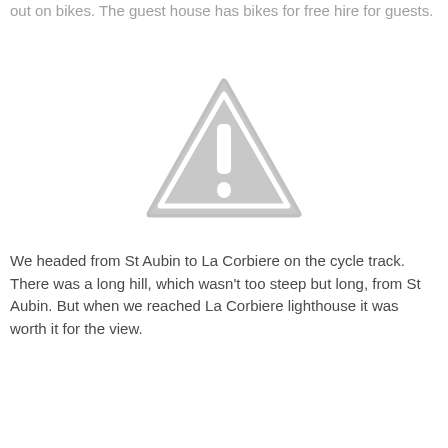out on bikes. The guest house has bikes for free hire for guests.
[Figure (illustration): A grey warning triangle with an exclamation mark icon, indicating a missing or unavailable image placeholder.]
We headed from St Aubin to La Corbiere on the cycle track. There was a long hill, which wasn't too steep but long, from St Aubin. But when we reached La Corbiere lighthouse it was worth it for the view.